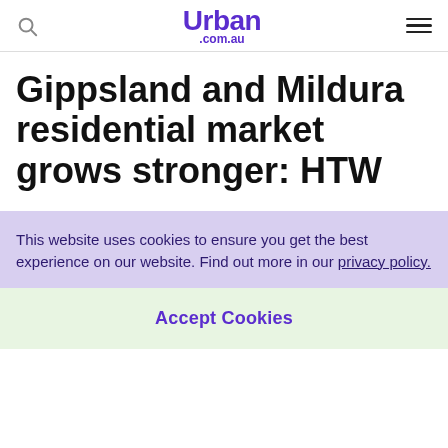Urban .com.au
Gippsland and Mildura residential market grows stronger: HTW
This website uses cookies to ensure you get the best experience on our website. Find out more in our privacy policy.
Accept Cookies